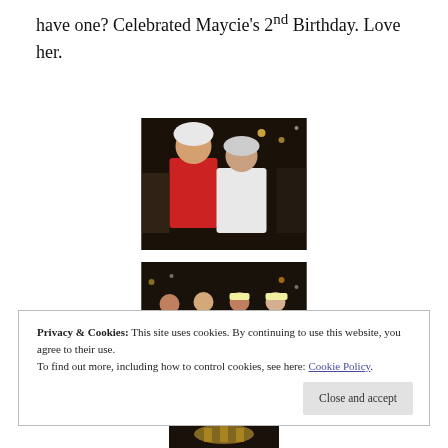have one? Celebrated Maycie's 2nd Birthday. Love her.
[Figure (photo): Two people at night, one wearing a red shirt and bicycle helmet, appearing to kiss or pose closely together outdoors.]
[Figure (photo): Group of four people with bicycles posing at night outdoors.]
Privacy & Cookies: This site uses cookies. By continuing to use this website, you agree to their use.
To find out more, including how to control cookies, see here: Cookie Policy
[Figure (photo): Partial image of a decorative item visible at the bottom of the page.]